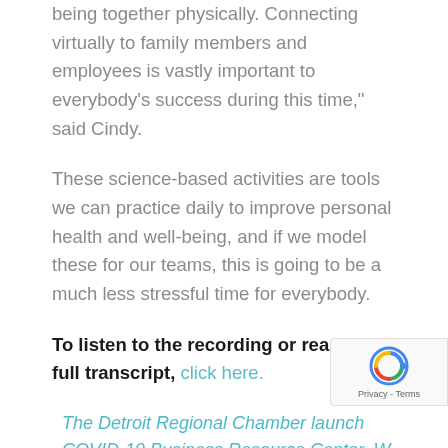being together physically. Connecting virtually to family members and employees is vastly important to everybody's success during this time," said Cindy.
These science-based activities are tools we can practice daily to improve personal health and well-being, and if we model these for our teams, this is going to be a much less stressful time for everybody.
To listen to the recording or read the full transcript, click here.
The Detroit Regional Chamber launch COVID-19 Business Resource Center. ongoing updates and resources at